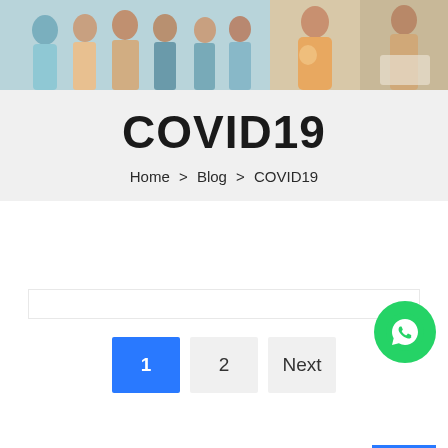[Figure (photo): Header photo strip showing medical staff and healthcare workers in clinic/hospital settings]
COVID19
Home > Blog > COVID19
[Figure (logo): WhatsApp green circle button icon in top right corner]
1
2
Next
[Figure (other): Blue scroll-to-top arrow button in bottom right corner]